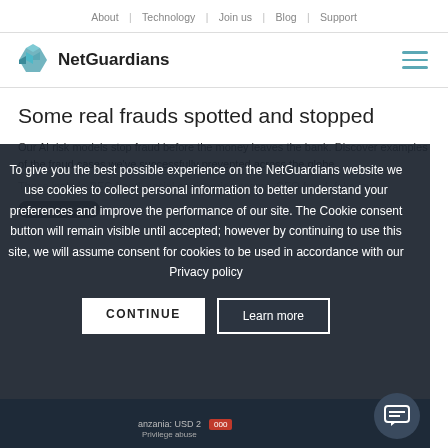About | Technology | Join us | Blog | Support
[Figure (logo): NetGuardians logo with teal hexagon icon and bold text 'NetGuardians']
Some real frauds spotted and stopped
Our AI risk models stop fraud before the money leaves the bank. Discover examples of the fraud cases we've successfully prevented across the globe.
These include BEC fraud, social engineering scams, CEO fraud, fake invoices, many more.
To give you the best possible experience on the NetGuardians website we use cookies to collect personal information to better understand your preferences and improve the performance of our site. The Cookie consent button will remain visible until accepted; however by continuing to use this site, we will assume consent for cookies to be used in accordance with our Privacy policy
CONTINUE
Learn more